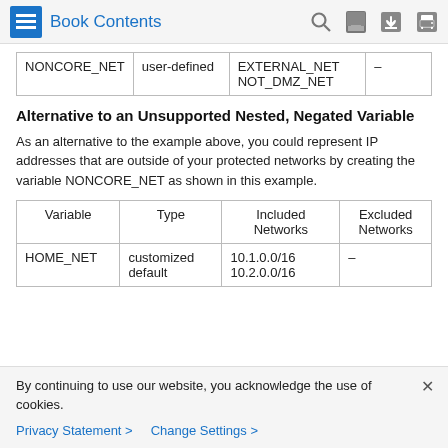Book Contents
|  |  |  |  |
| --- | --- | --- | --- |
| NONCORE_NET | user-defined | EXTERNAL_NET
NOT_DMZ_NET | – |
Alternative to an Unsupported Nested, Negated Variable
As an alternative to the example above, you could represent IP addresses that are outside of your protected networks by creating the variable NONCORE_NET as shown in this example.
| Variable | Type | Included Networks | Excluded Networks |
| --- | --- | --- | --- |
| HOME_NET | customized default | 10.1.0.0/16
10.2.0.0/16 | – |
By continuing to use our website, you acknowledge the use of cookies.
Privacy Statement > Change Settings >